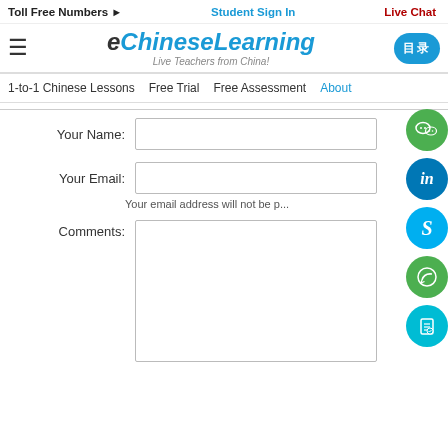Toll Free Numbers ▶   Student Sign In   Live Chat
[Figure (logo): eChineseLearning logo with tagline 'Live Teachers from China!']
1-to-1 Chinese Lessons   Free Trial   Free Assessment   About
Your Name:
Your Email:
Your email address will not be p...
Comments: